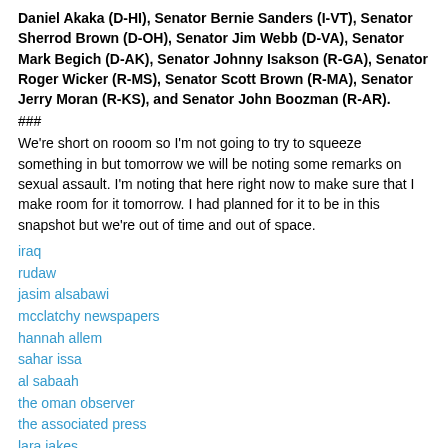Daniel Akaka (D-HI), Senator Bernie Sanders (I-VT), Senator Sherrod Brown (D-OH), Senator Jim Webb (D-VA), Senator Mark Begich (D-AK), Senator Johnny Isakson (R-GA), Senator Roger Wicker (R-MS), Senator Scott Brown (R-MA), Senator Jerry Moran (R-KS), and Senator John Boozman (R-AR).
###
We're short on rooom so I'm not going to try to squeeze something in but tomorrow we will be noting some remarks on sexual assault. I'm noting that here right now to make sure that I make room for it tomorrow. I had planned for it to be in this snapshot but we're out of time and out of space.
iraq
rudaw
jasim alsabawi
mcclatchy newspapers
hannah allem
sahar issa
al sabaah
the oman observer
the associated press
lara jakes
kitabat
the kuwait times
alsumaria tv
al rafidayn
npr